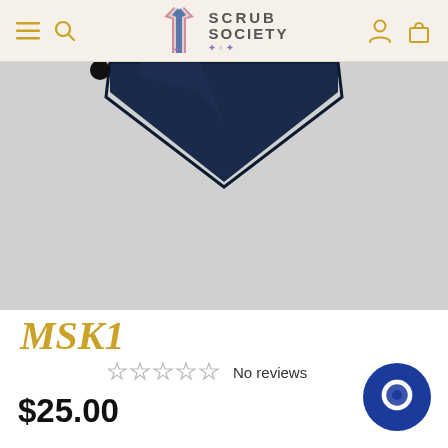Scrub Society — navigation header with menu, search, logo, account, and cart icons
[Figure (photo): Product photo of a navy blue scrub top (V-neck detail visible) against a light gray background]
MSK1
☆☆☆☆☆ No reviews
$25.00